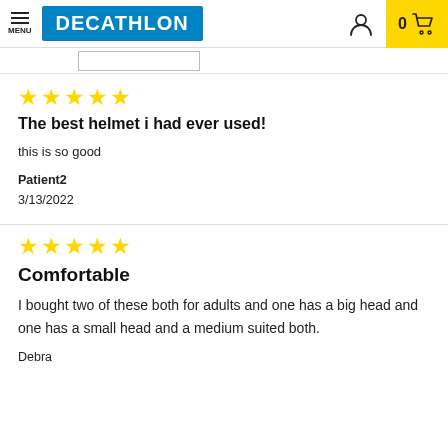MENU | DECATHLON | 0 (cart)
[Figure (screenshot): Search input bar partially visible]
★★★★★
The best helmet i had ever used!
this is so good
Patient2
3/13/2022
★★★★★
Comfortable
I bought two of these both for adults and one has a big head and one has a small head and a medium suited both.
Debra